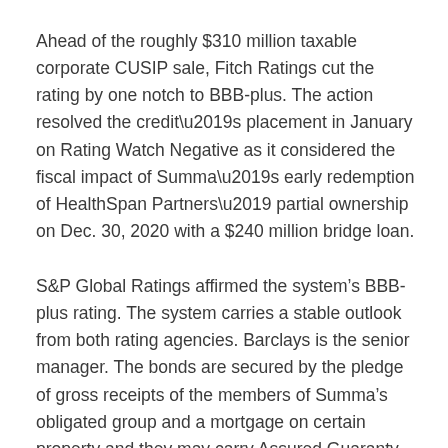Ahead of the roughly $310 million taxable corporate CUSIP sale, Fitch Ratings cut the rating by one notch to BBB-plus. The action resolved the credit’s placement in January on Rating Watch Negative as it considered the fiscal impact of Summa’s early redemption of HealthSpan Partners’ partial ownership on Dec. 30, 2020 with a $240 million bridge loan.
S&P Global Ratings affirmed the system’s BBB-plus rating. The system carries a stable outlook from both rating agencies. Barclays is the senior manager. The bonds are secured by the pledge of gross receipts of the members of Summa’s obligated group and a mortgage on certain property and they may carry Assured Guaranty insurance.
HSP had purchased a 30% stake in Summa for $250